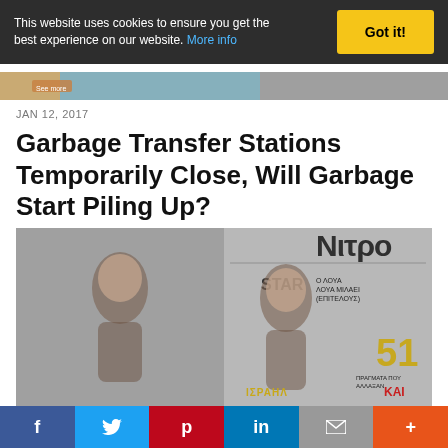This website uses cookies to ensure you get the best experience on our website. More info
[Figure (photo): Partial image strip showing a colorful image, partially obscured by cookie banner]
JAN 12, 2017
Garbage Transfer Stations Temporarily Close, Will Garbage Start Piling Up?
[Figure (photo): Side-by-side comparison of a woman in a black bikini posing, next to a magazine cover of the same woman on a publication called 'Nitro' with Greek text and the number 51]
f  t  p  in  ✉  +